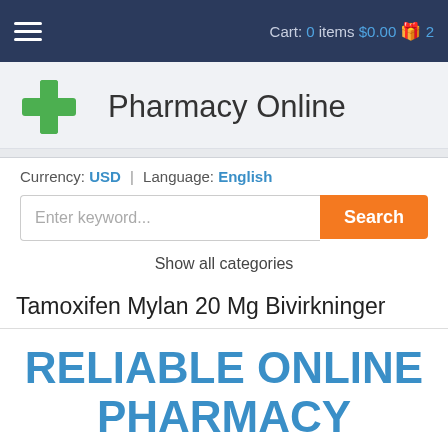Cart: 0 items $0.00 2
[Figure (logo): Pharmacy Online logo with green cross and text]
Currency: USD | Language: English
Enter keyword... Search
Show all categories
Tamoxifen Mylan 20 Mg Bivirkninger
RELIABLE ONLINE PHARMACY
> Click here to order now